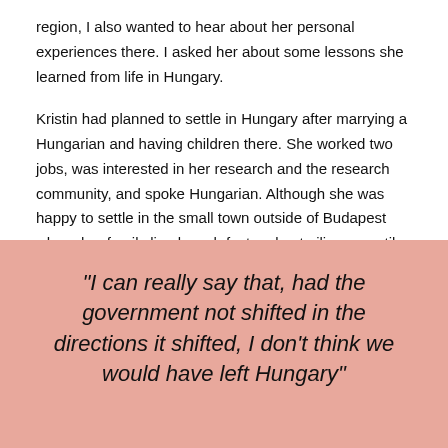region, I also wanted to hear about her personal experiences there. I asked her about some lessons she learned from life in Hungary.
Kristin had planned to settle in Hungary after marrying a Hungarian and having children there. She worked two jobs, was interested in her research and the research community, and spoke Hungarian. Although she was happy to settle in the small town outside of Budapest where her family lived, push factors kept piling up until the family decided to leave Hungary. To understand what drove that decision, I asked her why she left.
“I can really say that, had the government not shifted in the directions it shifted, I don’t think we would have left Hungary”